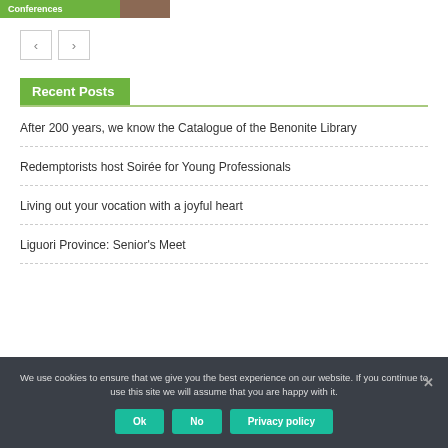[Figure (screenshot): Green label reading 'Conferences' with a small brown image thumbnail to the right]
[Figure (other): Navigation previous and next arrow buttons]
Recent Posts
After 200 years, we know the Catalogue of the Benonite Library
Redemptorists host Soirée for Young Professionals
Living out your vocation with a joyful heart
Liguori Province: Senior's Meet
We use cookies to ensure that we give you the best experience on our website. If you continue to use this site we will assume that you are happy with it.